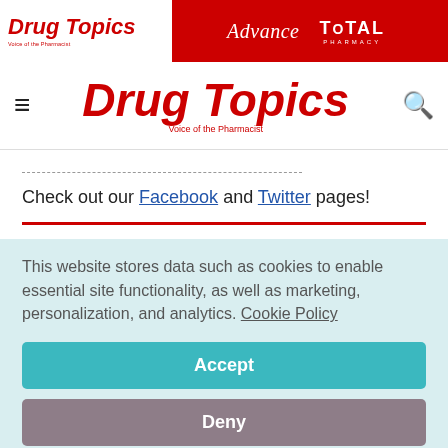[Figure (logo): Drug Topics and Advance / Total Pharmacy banner header in red]
Drug Topics — Voice of the Pharmacist navigation bar with hamburger menu and search icon
——————————————————————————
Check out our Facebook and Twitter pages!
This website stores data such as cookies to enable essential site functionality, as well as marketing, personalization, and analytics. Cookie Policy
Accept
Deny